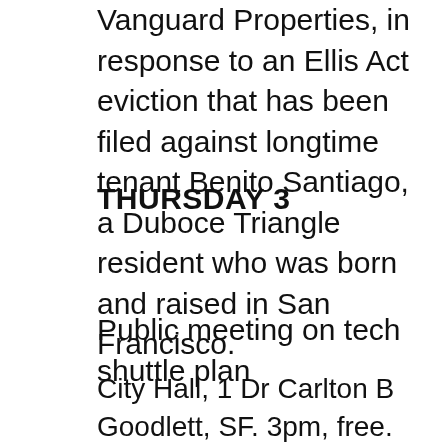Vanguard Properties, in response to an Ellis Act eviction that has been filed against longtime tenant Benito Santiago, a Duboce Triangle resident who was born and raised in San Francisco.
THURSDAY 3
Public meeting on tech shuttle plan
City Hall, 1 Dr Carlton B Goodlett, SF. 3pm, free. The San Francisco Board of Supervisors will vote on a controversial pilot program that will allow private shuttles, such as Google buses, to use Muni bus stops for a fee of $1 per stop per day. The program, approved by the San Francisco